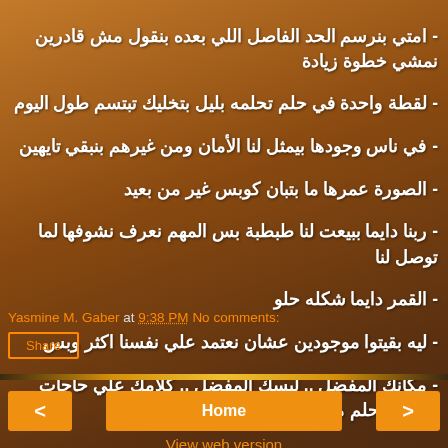- امتي بنرسم الحد الفاصل اللي بعده بنقول مش قادرين نمشي خطوة زيادة
- لقطة واحدة في حلم تحلمه بليل بتخليك تبتسم طول اليوم
- في ناس وجودها بيمثل لنا الأمان ومن غيرهم بنبقي تايهين
- الصورة عمرها ما بتبان كوبس غير من بعيد
- ربنا دايما ببيعت لنا طبطبة بس المهم نعرف نشوفها لما توصل لنا
- القمر دايما شكله حلو
- ليه بقيتوا موجودين عشان نعتمد علي نفسنا اكثر وبس
- مكانك المفضل .. لبسك المفضل .. كلامك علي حاجات بتحبها .. حلم مميز
Yasmine M. Gaber at 9:38 PM   No comments:
Share
Home
View web version
Welcome to Mind City
Yasmine M. Gaber